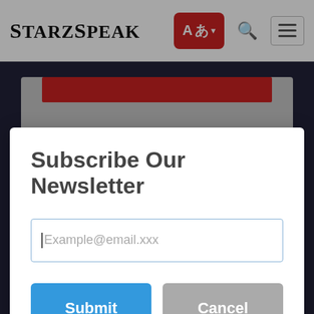StarzSpeak
[Figure (screenshot): Newsletter subscription modal dialog over StarzSpeak website background showing a Pisces article]
Subscribe Our Newsletter
Example@email.xxx (email input placeholder)
Submit | Cancel (form buttons)